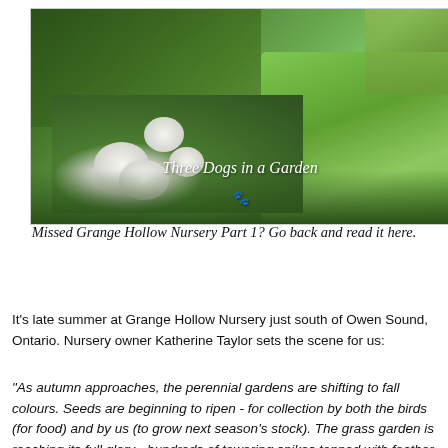[Figure (photo): Garden photo showing green leafy shrubs with white hydrangea-like blooms in the foreground and a bright green lawn in the background. White italic text overlay reads 'Three Dogs in a Garden' with a paw print symbol below it.]
Missed Grange Hollow Nursery Part 1? Go back and read it here.
It's late summer at Grange Hollow Nursery just south of Owen Sound, Ontario. Nursery owner Katherine Taylor sets the scene for us:
"As autumn approaches, the perennial gardens are shifting to fall colours. Seeds are beginning to ripen - for collection by both the birds (for food) and by us (to grow next season's stock). The grass garden is reaching its full glory - hundreds of towering spikes topped with feather blooms wavering in